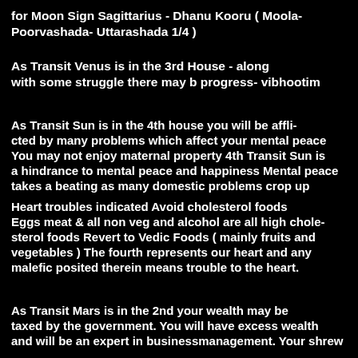for Moon Sign Sagittarius - Dhanu Kooru ( Moola- Poorvashada- Uttarashada 1/4 )
As Transit Venus is in the 3rd House - along with some struggle there may b progress- vibhootim
As Transit Sun is in the 4th house you will be afflicted by many problems which affect your mental peace You may not enjoy maternal property 4th Transit Sun is a hindrance to mental peace and happiness Mental peace takes a beating as many domestic problems crop up
Heart troubles indicated Avoid cholesterol foods Eggs meat & all non veg and alcohol are all high cholesterol foods Revert to Vedic Foods ( mainly fruits and vegetables ) The fourth represents our heart and any malefic posited therein means trouble to the heart.
As Transit Mars is in the 2nd your wealth may be taxed by the government. You will have excess wealth and will be an expert in businessmanagement. Your shrew...